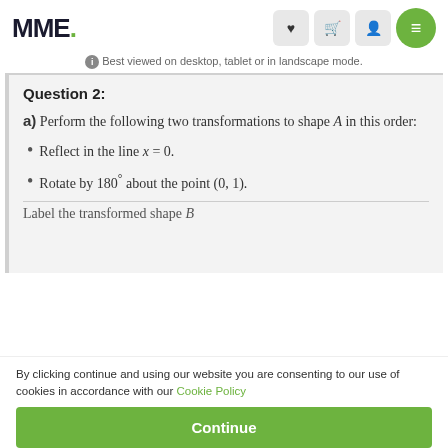MME.
Best viewed on desktop, tablet or in landscape mode.
Question 2:
a) Perform the following two transformations to shape A in this order:
Reflect in the line x = 0.
Rotate by 180° about the point (0, 1).
Label the transformed shape B
By clicking continue and using our website you are consenting to our use of cookies in accordance with our Cookie Policy